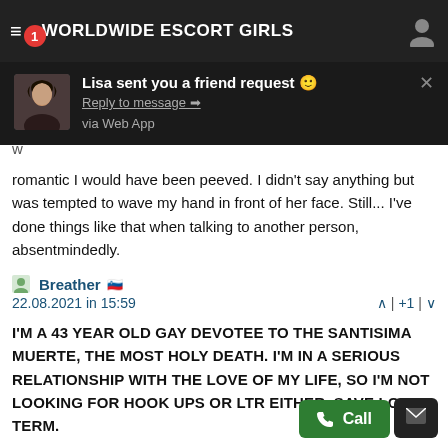WORLDWIDE ESCORT GIRLS
[Figure (screenshot): Mobile app notification toast: 'Lisa sent you a friend request 🙂', Reply to message →, via Web App]
romantic I would have been peeved. I didn't say anything but was tempted to wave my hand in front of her face. Still... I've done things like that when talking to another person, absentmindedly.
Breather 🇸🇮
22.08.2021 in 15:59  ∧ | +1 | ∨
I'M A 43 YEAR OLD GAY DEVOTEE TO THE SANTISIMA MUERTE, THE MOST HOLY DEATH. I'M IN A SERIOUS RELATIONSHIP WITH THE LOVE OF MY LIFE, SO I'M NOT LOOKING FOR HOOK UPS OR LTR EITHER. SAVE LONG TEAM.
Sander 🇰🇭
22.08.2021 in 22:29  ∧ | +1 | ∨
I found pictures recently and questioned her about it. She told me the story. They don't talk on the phone or text each other... Ju... passing when out with her circle of friends. To my knowledge anyway.